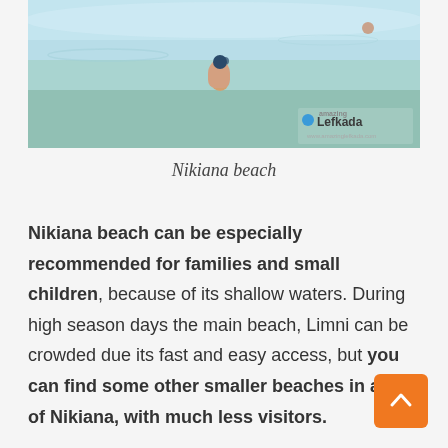[Figure (photo): Beach photo showing shallow clear water with a child snorkeling, rocky seabed visible, with 'Amazing Lefkada' watermark in bottom right corner]
Nikiana beach
Nikiana beach can be especially recommended for families and small children, because of its shallow waters. During high season days the main beach, Limni can be crowded due its fast and easy access, but you can find some other smaller beaches in area of Nikiana, with much less visitors.